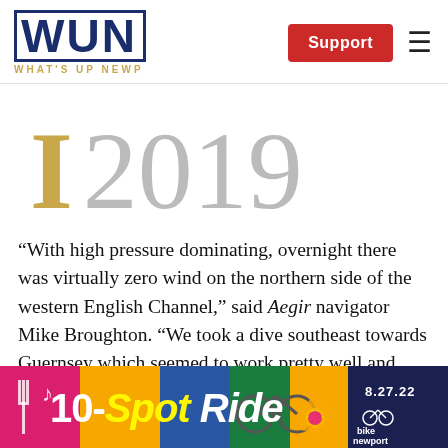WUN WHAT'S UP NEWP | Support
[Figure (illustration): Large drop capital letter 'I' in gold/tan color with the year '2019' in large light gray serif font beside it]
“With high pressure dominating, overnight there was virtually zero wind on the northern side of the western English Channel,” said Aegir navigator Mike Broughton. “We took a dive southeast towards Guernsey which seemed to work pretty well and kept
[Figure (infographic): Ad banner for '10-Spot Ride' event on 8.27.22 by Bike Newport, colorful background with bicycle illustration and floral design]